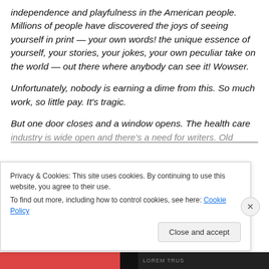independence and playfulness in the American people. Millions of people have discovered the joys of seeing yourself in print — your own words! the unique essence of yourself, your stories, your jokes, your own peculiar take on the world — out there where anybody can see it! Wowser.
Unfortunately, nobody is earning a dime from this. So much work, so little pay. It's tragic.
But one door closes and a window opens. The health care industry is wide open and there's a need for writers. Old
Privacy & Cookies: This site uses cookies. By continuing to use this website, you agree to their use.
To find out more, including how to control cookies, see here: Cookie Policy